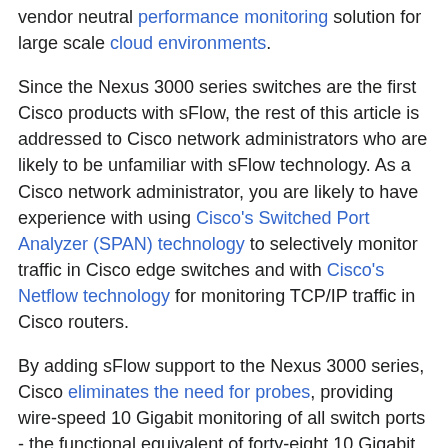vendor neutral performance monitoring solution for large scale cloud environments.
Since the Nexus 3000 series switches are the first Cisco products with sFlow, the rest of this article is addressed to Cisco network administrators who are likely to be unfamiliar with sFlow technology. As a Cisco network administrator, you are likely to have experience with using Cisco's Switched Port Analyzer (SPAN) technology to selectively monitor traffic in Cisco edge switches and with Cisco's Netflow technology for monitoring TCP/IP traffic in Cisco routers.
By adding sFlow support to the Nexus 3000 series, Cisco eliminates the need for probes, providing wire-speed 10 Gigabit monitoring of all switch ports - the functional equivalent of forty-eight 10 Gigabit probes and four 40 Gigabit probes in a Nexus 3064 - embedded in the switch hardware at no extra cost. If you are familiar with RMON probes, sFlow is functionally equivalent to deploying an RMON probe for each switch port.
Based on the name, you might think that sFlow is just